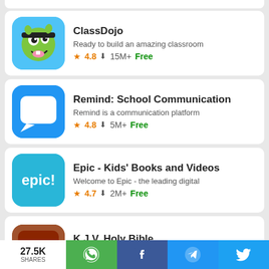ClassDojo — Ready to build an amazing classroom — 4.8 — 15M+ — Free
Remind: School Communication — Remind is a communication platform — 4.8 — 5M+ — Free
Epic - Kids' Books and Videos — Welcome to Epic - the leading digital — 4.7 — 2M+ — Free
K.J.V. Holy Bible — The King James Version Holy Bible. — 4.8 — 1M+ — Free
27.5K SHARES